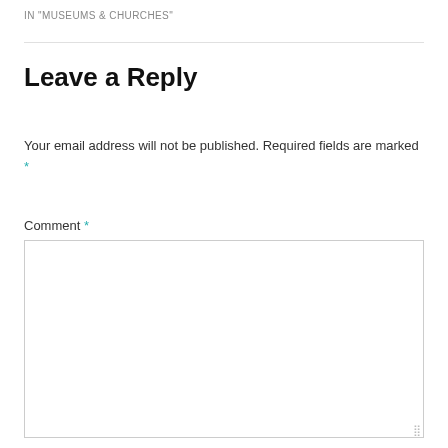IN "MUSEUMS & CHURCHES"
Leave a Reply
Your email address will not be published. Required fields are marked *
Comment *